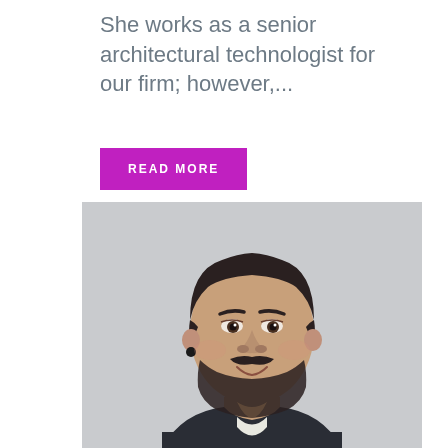She works as a senior architectural technologist for our firm; however,...
READ MORE
[Figure (photo): Headshot photo of a young man with dark hair, beard and mustache, wearing a dark collared shirt, smiling slightly, on a light gray background.]